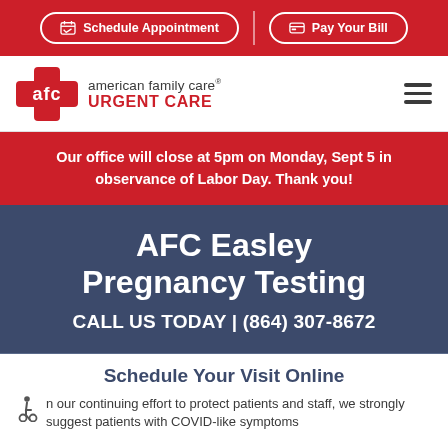Schedule Appointment | Pay Your Bill
[Figure (logo): AFC American Family Care Urgent Care logo with red cross bandage icon]
Our office will close at 5pm on Monday, Sept 5 in observance of Labor Day. Thank you!
AFC Easley Pregnancy Testing
CALL US TODAY | (864) 307-8672
Schedule Your Visit Online
In our continuing effort to protect patients and staff, we strongly suggest patients with COVID-like symptoms